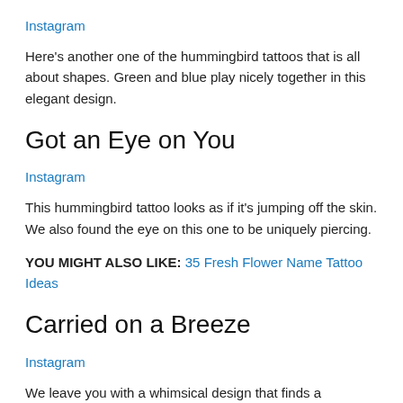Instagram
Here’s another one of the hummingbird tattoos that is all about shapes. Green and blue play nicely together in this elegant design.
Got an Eye on You
Instagram
This hummingbird tattoo looks as if it’s jumping off the skin. We also found the eye on this one to be uniquely piercing.
YOU MIGHT ALSO LIKE: 35 Fresh Flower Name Tattoo Ideas
Carried on a Breeze
Instagram
We leave you with a whimsical design that finds a hummingbird flying on a breeze filled with cute, little flowers. This tattoo positively sweeps you